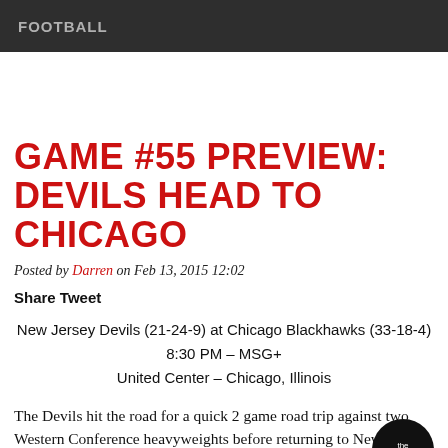FOOTBALL
GAME #55 PREVIEW: DEVILS HEAD TO CHICAGO
Posted by Darren on Feb 13, 2015 12:02
Share Tweet
New Jersey Devils (21-24-9) at Chicago Blackhawks (33-18-4)
8:30 PM – MSG+
United Center – Chicago, Illinois
The Devils hit the road for a quick 2 game road trip against two Western Conference heavyweights before returning to New Jersey on Tuesday night. The Devils are coming off a